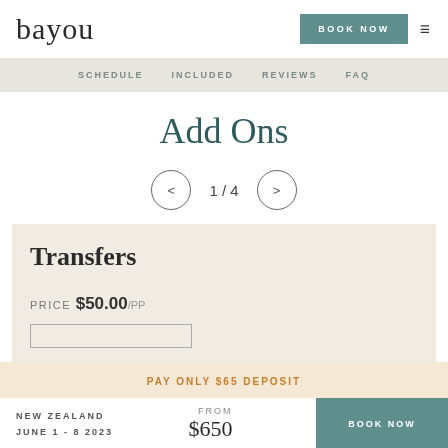[Figure (logo): bayou script logo in dark color]
BOOK NOW
SCHEDULE  INCLUDED  REVIEWS  FAQ
Add Ons
1 / 4
Transfers
PRICE $50.00/pp
PAY ONLY $65 DEPOSIT
NEW ZEALAND  JUNE 1 - 8 2023  FROM $650  BOOK NOW